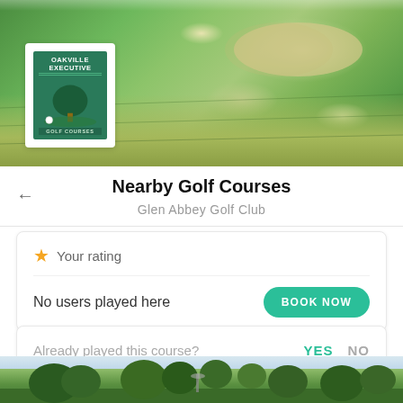[Figure (photo): Golf course banner photo showing a green fairway with sand bunker, and Oakville Executive Golf Courses logo overlaid on white card in lower left]
Nearby Golf Courses
Glen Abbey Golf Club
★ Your rating
No users played here
BOOK NOW
Already played this course?
YES  NO
[Figure (photo): Bottom strip showing trees/golf course scenery]